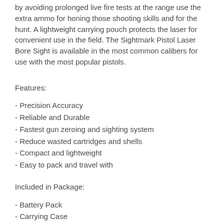by avoiding prolonged live fire tests at the range use the extra ammo for honing those shooting skills and for the hunt. A lightweight carrying pouch protects the laser for convenient use in the field. The Sightmark Pistol Laser Bore Sight is available in the most common calibers for use with the most popular pistols.
Features:
- Precision Accuracy
- Reliable and Durable
- Fastest gun zeroing and sighting system
- Reduce wasted cartridges and shells
- Compact and lightweight
- Easy to pack and travel with
Included in Package:
- Battery Pack
- Carrying Case
Specifications:
- Laser Wavelength (nm): 632-650